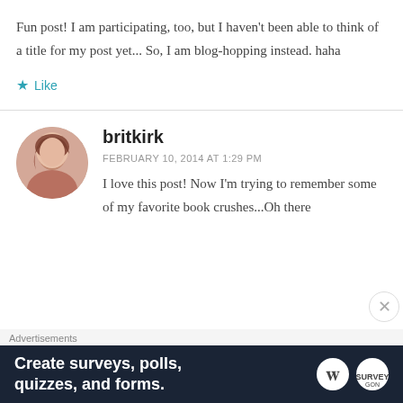Fun post! I am participating, too, but I haven't been able to think of a title for my post yet... So, I am blog-hopping instead. haha
Like
britkirk
FEBRUARY 10, 2014 AT 1:29 PM
I love this post! Now I'm trying to remember some of my favorite book crushes...Oh there
Advertisements
Create surveys, polls, quizzes, and forms.